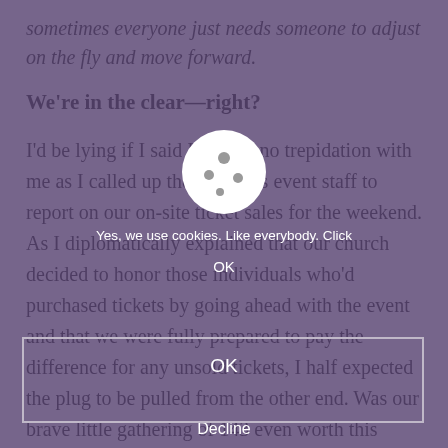sometimes everyone just needs someone to adjust on the fly and move forward.
We're in the clear—right?
I'd be lying if I said I carried no trepidation with me as I called up the speaker's event staff to report on our on-site ticket sales for the weekend. As I diplomatically explained that our church decided to honor those individuals who'd purchased tickets by going ahead with the event and that we were fully prepared to pay the difference for any unsold tickets, I half expected the plug to be pulled from the other end. Was our brave little gathering of 143 even worth this speaker's time at this point? But I must have sounded very calm, at least enough for the speaker's V.P. of events to cheerfully confirm they'd get their money one way or another. I got
[Figure (screenshot): Cookie consent overlay with cookie icon, text asking about cookie usage, OK button, and Decline button, overlaid on the document text with a purple semi-transparent background. A highlighted rectangle box is visible around a portion of the body text.]